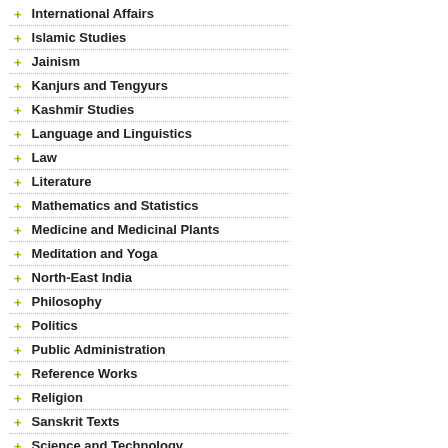International Affairs
Islamic Studies
Jainism
Kanjurs and Tengyurs
Kashmir Studies
Language and Linguistics
Law
Literature
Mathematics and Statistics
Medicine and Medicinal Plants
Meditation and Yoga
North-East India
Philosophy
Politics
Public Administration
Reference Works
Religion
Sanskrit Texts
Science and Technology
Sikhism
Sociology